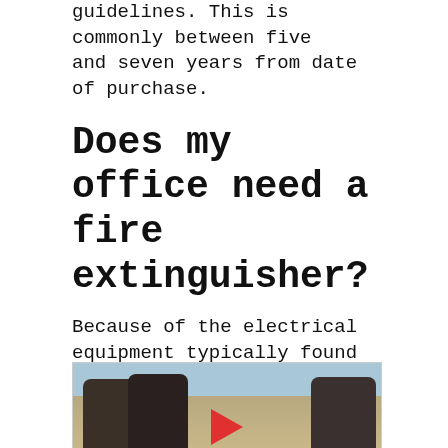guidelines. This is commonly between five and seven years from date of purchase.
Does my office need a fire extinguisher?
Because of the electrical equipment typically found in offices, fire regulations prescribe that you will need CO2 extinguishers. You will also need either water or foam fire extinguishers. These are used for paper, cardboard, and wood based fires (known as ‘carbonaceous’ fires).
[Figure (photo): Video thumbnail showing two people in hats outdoors near equipment, with a red YouTube play button overlay at the bottom center.]